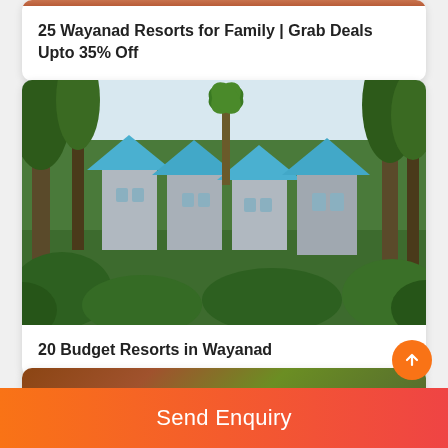[Figure (photo): Partially visible resort/hotel image at top of page, showing warm reddish-brown tones]
25 Wayanad Resorts for Family | Grab Deals Upto 35% Off
[Figure (photo): Resort with blue-roofed cottages surrounded by lush green tropical forest and trees in Wayanad]
20 Budget Resorts in Wayanad
[Figure (photo): Partially visible image at bottom of page with warm brown and green tones]
Send Enquiry